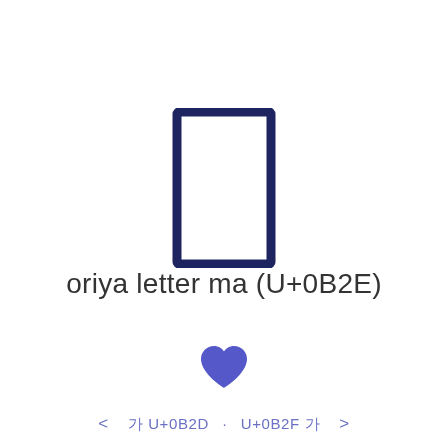[Figure (illustration): Large dark navy outlined rectangle (tall, portrait orientation) representing the Oriya letter ma Unicode character U+0B2E rendered as a glyph outline]
oriya letter ma (U+0B2E)
[Figure (illustration): A medium-sized solid dark blue/indigo heart symbol (favorite/like icon)]
< ꀀ U+0B2D · U+0B2F ꀀ >